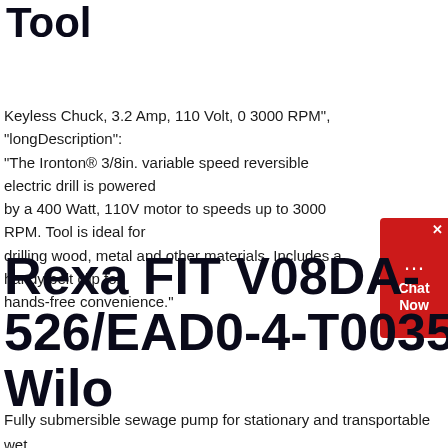motor from Northern Tool
Keyless Chuck, 3.2 Amp, 110 Volt, 0 3000 RPM", "longDescription": "The Ironton® 3/8in. variable speed reversible electric drill is powered by a 400 Watt, 110V motor to speeds up to 3000 RPM. Tool is ideal for drilling wood, metal and other materials. Includes a handy belt clip for hands-free convenience."
Rexa FIT V08DA-526/EAD0-4-T0035-540-O Wilo
Fully submersible sewage pump for stationary and transportable wet well installation for pumping wastewater and sewage containing faeces